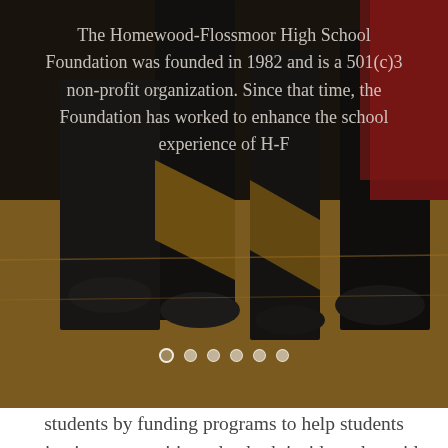[Figure (photo): Photo of students at Homewood-Flossmoor High School, showing legs and feet on a gym/basketball court floor with bleachers visible. Text overlay reads the foundation description.]
The Homewood-Flossmoor High School Foundation was founded in 1982 and is a 501(c)3 non-profit organization. Since that time, the Foundation has worked to enhance the school experience of H-F students by funding programs to help students maintain a competitive edge both inside and outside the classroom. The H-F Foundation raises money each year through fundraising events. After a grant application is submitted and a presentation is made to the Foundation board, funds are distributed to student organizations and clubs, faculty members, and